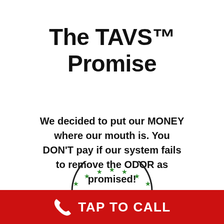The TAVS™ Promise
We decided to put our MONEY where our mouth is. You DON'T pay if our system fails to remove the ODOR as promised!
[Figure (illustration): Partial circular badge/seal with green stars along the arc, visible at the bottom of the white content area above the red CTA bar]
TAP TO CALL